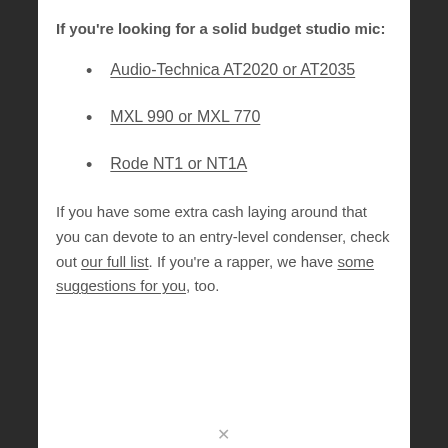If you're looking for a solid budget studio mic:
Audio-Technica AT2020 or AT2035
MXL 990 or MXL 770
Rode NT1 or NT1A
If you have some extra cash laying around that you can devote to an entry-level condenser, check out our full list. If you're a rapper, we have some suggestions for you, too.